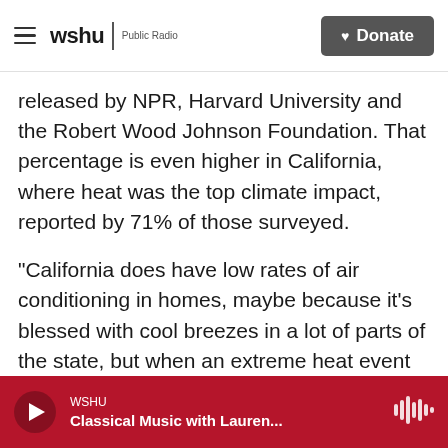wshu | Public Radio — Donate
released by NPR, Harvard University and the Robert Wood Johnson Foundation. That percentage is even higher in California, where heat was the top climate impact, reported by 71% of those surveyed.
"California does have low rates of air conditioning in homes, maybe because it's blessed with cool breezes in a lot of parts of the state, but when an extreme heat event comes and there's no cool air available, you're in trouble," says David Eisenman, a doctor who directs the UCLA Center for Public Health and Disasters. "That's why you're seeing this higher number."
WSHU — Classical Music with Lauren...